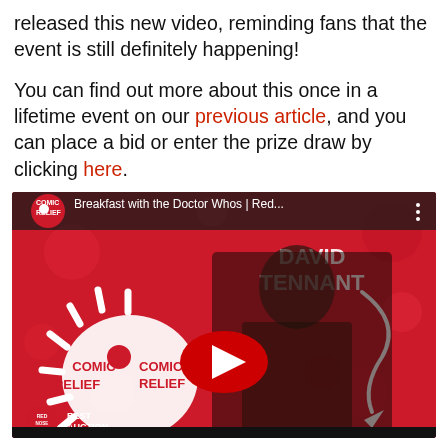released this new video, reminding fans that the event is still definitely happening!

You can find out more about this once in a lifetime event on our previous article, and you can place a bid or enter the prize draw by clicking here.
[Figure (screenshot): YouTube video thumbnail showing a Comic Relief video titled 'Breakfast with the Doctor Whos | Red...' featuring David Tennant against a red Comic Relief background with a play button overlay. Bottom left shows 'Best Auction Ever' logo.]